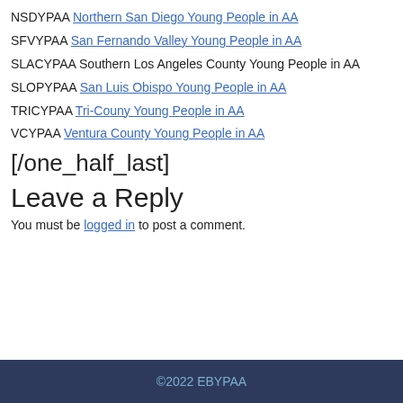NSDYPAA Northern San Diego Young People in AA
SFVYPAA San Fernando Valley Young People in AA
SLACYPAA Southern Los Angeles County Young People in AA
SLOPYPAA San Luis Obispo Young People in AA
TRICYPAA Tri-Couny Young People in AA
VCYPAA Ventura County Young People in AA
[/one_half_last]
Leave a Reply
You must be logged in to post a comment.
©2022 EBYPAA